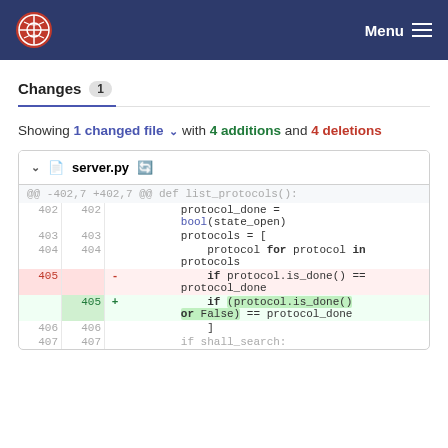Menu
Changes 1
Showing 1 changed file with 4 additions and 4 deletions
[Figure (screenshot): Git diff view of server.py showing code changes at lines 402-407. Lines 402-404 show context, line 405 (deleted) shows 'if protocol.is_done() == protocol_done', line 405 (added) shows 'if (protocol.is_done() or False) == protocol_done'.]